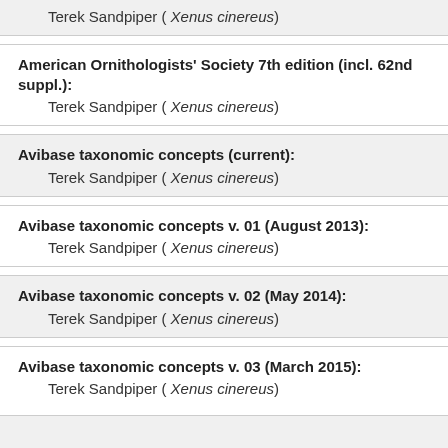Terek Sandpiper ( Xenus cinereus)
American Ornithologists' Society 7th edition (incl. 62nd suppl.):
Terek Sandpiper ( Xenus cinereus)
Avibase taxonomic concepts (current):
Terek Sandpiper ( Xenus cinereus)
Avibase taxonomic concepts v. 01 (August 2013):
Terek Sandpiper ( Xenus cinereus)
Avibase taxonomic concepts v. 02 (May 2014):
Terek Sandpiper ( Xenus cinereus)
Avibase taxonomic concepts v. 03 (March 2015):
Terek Sandpiper ( Xenus cinereus)